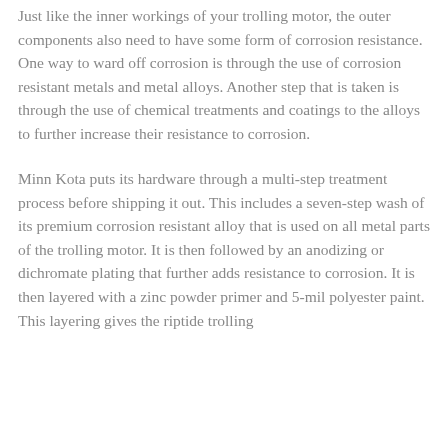Just like the inner workings of your trolling motor, the outer components also need to have some form of corrosion resistance. One way to ward off corrosion is through the use of corrosion resistant metals and metal alloys. Another step that is taken is through the use of chemical treatments and coatings to the alloys to further increase their resistance to corrosion.
Minn Kota puts its hardware through a multi-step treatment process before shipping it out. This includes a seven-step wash of its premium corrosion resistant alloy that is used on all metal parts of the trolling motor. It is then followed by an anodizing or dichromate plating that further adds resistance to corrosion. It is then layered with a zinc powder primer and 5-mil polyester paint. This layering gives the riptide trolling